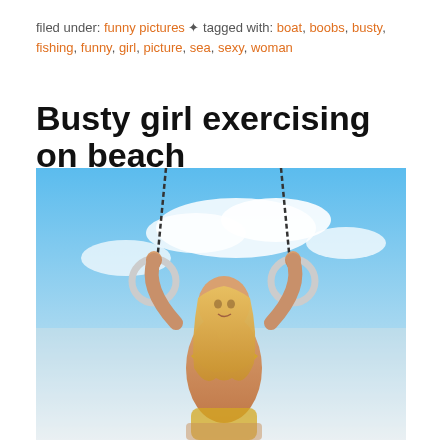filed under: funny pictures ✦ tagged with: boat, boobs, busty, fishing, funny, girl, picture, sea, sexy, woman
Busty girl exercising on beach
[Figure (photo): A blonde woman in a yellow bikini holding onto two gymnastic rings suspended by chains against a bright blue sky with clouds.]